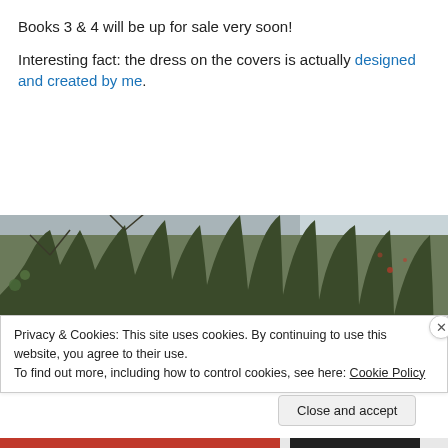Books 3 & 4 will be up for sale very soon!
Interesting fact: the dress on the covers is actually designed and created by me.
[Figure (photo): Outdoor photograph showing bare winter trees against a grey sky, with a black camera or device visible in the lower center of the image.]
Privacy & Cookies: This site uses cookies. By continuing to use this website, you agree to their use.
To find out more, including how to control cookies, see here: Cookie Policy
Close and accept